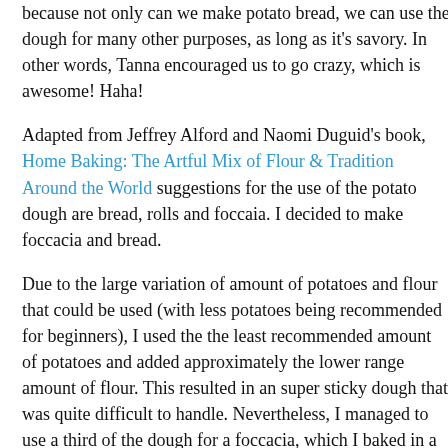because not only can we make potato bread, we can use the dough for many other purposes, as long as it's savory. In other words, Tanna encouraged us to go crazy, which is awesome! Haha!
Adapted from Jeffrey Alford and Naomi Duguid's book, Home Baking: The Artful Mix of Flour & Tradition Around the World suggestions for the use of the potato dough are bread, rolls and foccaia. I decided to make foccacia and bread.
Due to the large variation of amount of potatoes and flour that could be used (with less potatoes being recommended for beginners), I used the the least recommended amount of potatoes and added approximately the lower range amount of flour. This resulted in an super sticky dough that was quite difficult to handle. Nevertheless, I managed to use a third of the dough for a foccacia, which I baked in a jelly roll pan that has been greased with olive oil. Now, I didn't go as crazy as I wanted to with the foccacia topping only because I was limited with ingredient availability and it was too damn cold to go out and get some. I ended up sprinkling my beautiful foccacia with rosemary, salt, caramelized onions and pine